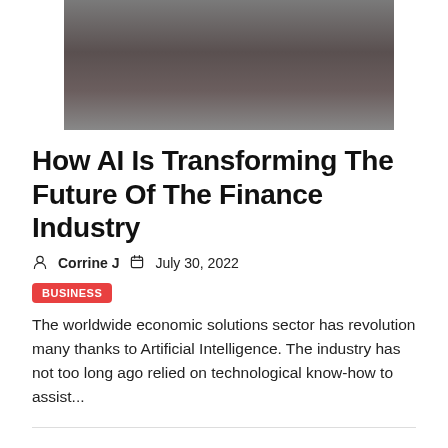[Figure (photo): Dark gray/brown blurred surface, appears to be a close-up texture or surface photo]
How AI Is Transforming The Future Of The Finance Industry
Corrine J  July 30, 2022
BUSINESS
The worldwide economic solutions sector has revolution many thanks to Artificial Intelligence. The industry has not too long ago relied on technological know-how to assist...
Citi expects revenue from India